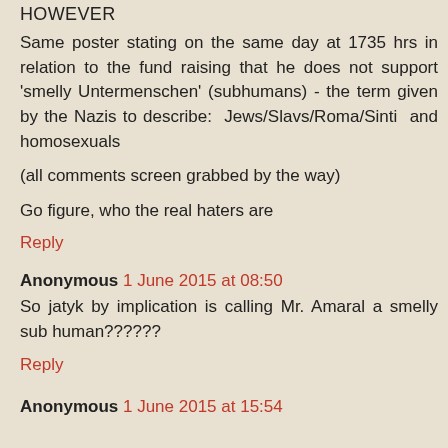HOWEVER
Same poster stating on the same day at 1735 hrs in relation to the fund raising that he does not support 'smelly Untermenschen' (subhumans) - the term given by the Nazis to describe: Jews/Slavs/Roma/Sinti and homosexuals
(all comments screen grabbed by the way)
Go figure, who the real haters are
Reply
Anonymous 1 June 2015 at 08:50
So jatyk by implication is calling Mr. Amaral a smelly sub human??????
Reply
Anonymous 1 June 2015 at 15:54